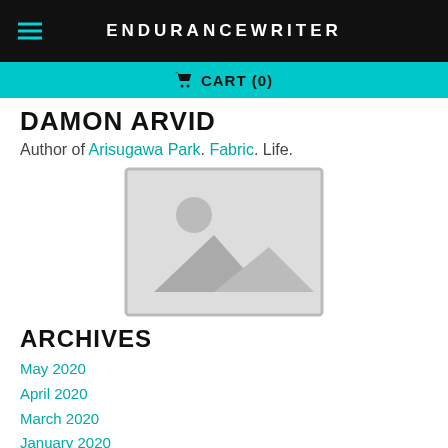ENDURANCEWRITER
CART (0)
DAMON ARVID
Author of Arisugawa Park. Fabric. Life.
[Figure (illustration): Placeholder image with grey border showing a landscape icon (mountain and sun)]
ARCHIVES
May 2020
April 2020
March 2020
January 2020
December 2019
November 2019
October 2019
September 2019
October 2017
June 2017